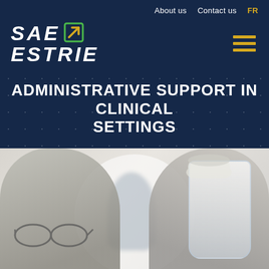About us   Contact us   FR
[Figure (logo): SAE ESTRIE logo with arrow icon in dark navy background]
ADMINISTRATIVE SUPPORT IN CLINICAL SETTINGS
[Figure (photo): Healthcare workers in clinical setting wearing masks and face shields, blurred background]